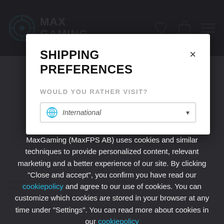[Figure (screenshot): MaxGaming website navigation bar with logo (target/crosshair icon), brand name MAX GAMING, and icons for wishlist, cart, and menu]
SHIPPING PREFERENCES
WOULD YOU RATHER VISIT?
[Figure (screenshot): Dropdown selector showing 'International' option with globe icon and dropdown arrow]
MaxGaming (MaxFPS AB) uses cookies and similar techniques to provide personalized content, relevant marketing and a better experience of our site. By clicking "Close and accept", you confirm you have read our cookiepolicy and agree to our use of cookies. You can customize which cookies are stored in your browser at any time under "Settings". You can read more about cookies in our cookiepolicy
Settings
Close and accept